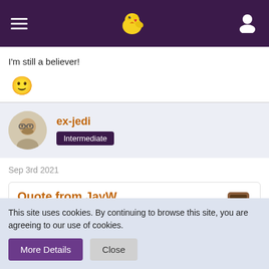Navigation header with hamburger menu, bird logo, and user icon
I'm still a believer!
[Figure (illustration): Smiley face emoji]
[Figure (illustration): User avatar: illustrated man with beard and glasses]
ex-jedi
Intermediate
Sep 3rd 2021
Quote from JayW
I'm still a believer!
This site uses cookies. By continuing to browse this site, you are agreeing to our use of cookies.